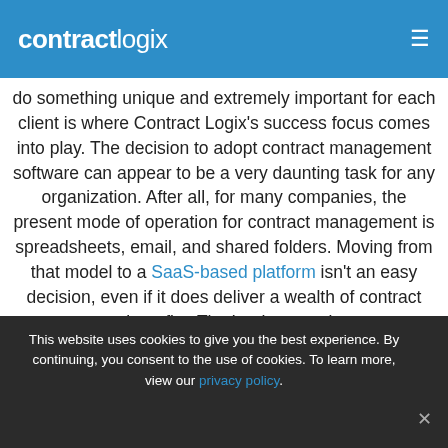contractlogix
do something unique and extremely important for each client is where Contract Logix's success focus comes into play. The decision to adopt contract management software can appear to be a very daunting task for any organization. After all, for many companies, the present mode of operation for contract management is spreadsheets, email, and shared folders. Moving from that model to a SaaS-based platform isn't an easy decision, even if it does deliver a wealth of contract management benefits. That's why ensuring customer success is a huge focus for
This website uses cookies to give you the best experience. By continuing, you consent to the use of cookies. To learn more, view our privacy policy.